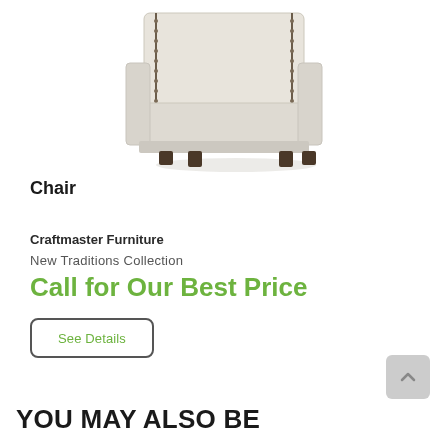[Figure (photo): A cream/beige upholstered accent chair with nailhead trim and dark wooden legs, shown from a 3/4 angle on a white background.]
Chair
Craftmaster Furniture
New Traditions Collection
Call for Our Best Price
See Details
YOU MAY ALSO BE